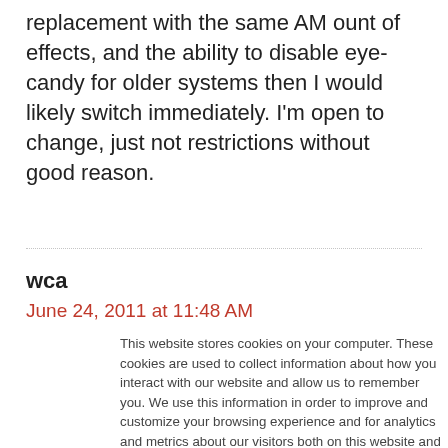replacement with the same AM ount of effects, and the ability to disable eye-candy for older systems then I would likely switch immediately. I'm open to change, just not restrictions without good reason.
wca
June 24, 2011 at 11:48 AM
This website stores cookies on your computer. These cookies are used to collect information about how you interact with our website and allow us to remember you. We use this information in order to improve and customize your browsing experience and for analytics and metrics about our visitors both on this website and other media. To find out more about the cookies we use, see our Privacy Policy. California residents have the right to direct us not to sell their personal information to third parties by filing an Opt-Out Request: Do Not Sell My Personal Info.
Accept